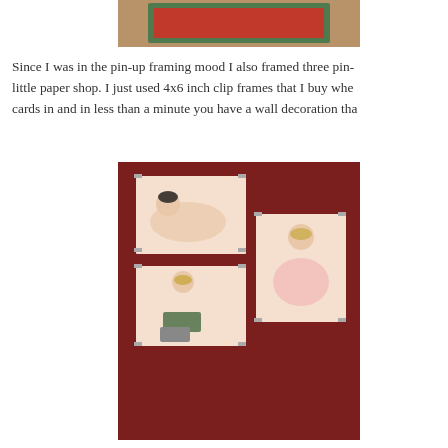[Figure (photo): Top of a framed pin-up artwork with green border and red center, partially visible at the top of the page]
Since I was in the pin-up framing mood I also framed three pin- little paper shop. I just used 4x6 inch clip frames that I buy whe cards in and in less than a minute you have a wall decoration tha
[Figure (photo): Three pin-up postcards displayed in 4x6 inch clip frames against a dark red/maroon background. Top left frame shows a brunette woman lying down. Bottom left frame shows a blonde woman leaning over luggage wearing floral shorts. Right frame shows a blonde woman sitting cross-legged in a pink outfit.]